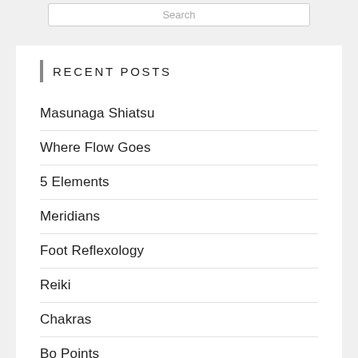RECENT POSTS
Masunaga Shiatsu
Where Flow Goes
5 Elements
Meridians
Foot Reflexology
Reiki
Chakras
Bo Points